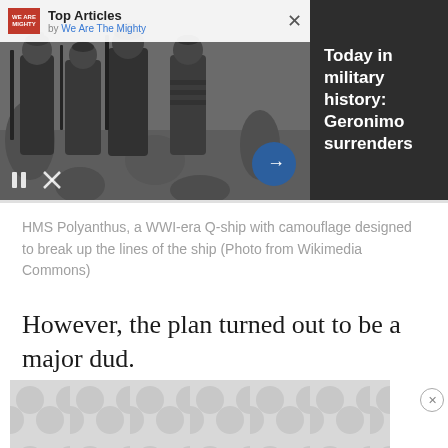[Figure (screenshot): Top banner: black and white historical photo of Native American warriors with rifles, overlaid with 'Top Articles by We Are The Mighty' bar and an X close button. Right side dark panel reads 'Today in military history: Geronimo surrenders'. Arrow button at bottom right of photo.]
HMS Polyanthus, a WWI-era Q-ship with camouflage designed to break up the lines of the ship (Photo from Wikimedia Commons)
However, the plan turned out to be a major dud.
By the war’s end, it was found that
th… en… U-